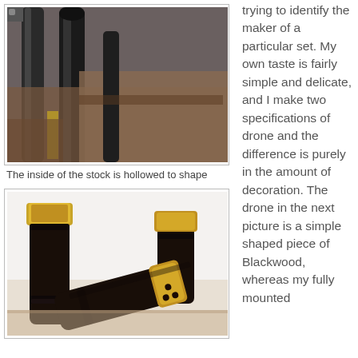[Figure (photo): Close-up photo of the inside of a bagpipe drone stock being hollowed to shape on a lathe or similar tool, showing dark wood cylinders with metal machinery]
The inside of the stock is hollowed to shape
trying to identify the maker of a particular set. My own taste is fairly simple and delicate, and I make two specifications of drone and the difference is purely in the amount of decoration. The drone in the next picture is a simple shaped piece of Blackwood, whereas my fully mounted
[Figure (photo): Photo of three dark Blackwood bagpipe drone sections with brass fittings/ferrules, arranged on a light surface]